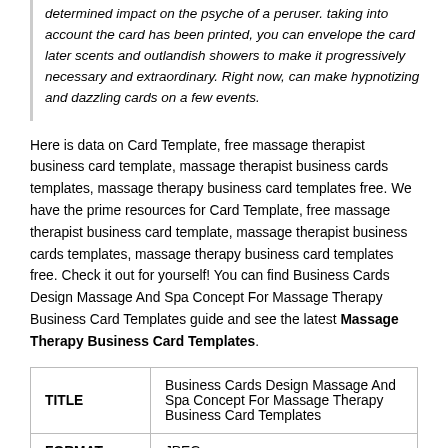determined impact on the psyche of a peruser. taking into account the card has been printed, you can envelope the card later scents and outlandish showers to make it progressively necessary and extraordinary. Right now, can make hypnotizing and dazzling cards on a few events.
Here is data on Card Template, free massage therapist business card template, massage therapist business cards templates, massage therapy business card templates free. We have the prime resources for Card Template, free massage therapist business card template, massage therapist business cards templates, massage therapy business card templates free. Check it out for yourself! You can find Business Cards Design Massage And Spa Concept For Massage Therapy Business Card Templates guide and see the latest Massage Therapy Business Card Templates.
|  |  |
| --- | --- |
| TITLE | Business Cards Design Massage And Spa Concept For Massage Therapy Business Card Templates |
| FORMAT | JPEG |